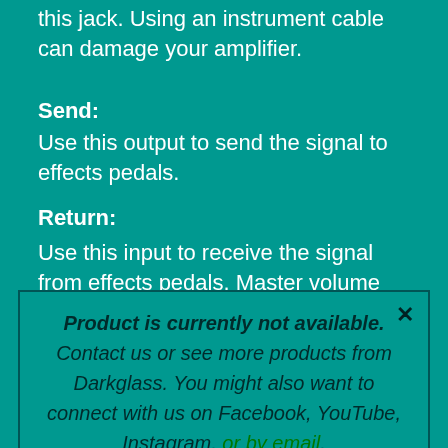Do not use an instrument cable with this jack. Using an instrument cable can damage your amplifier.
Send:
Use this output to send the signal to effects pedals.
Return:
Use this input to receive the signal from effects pedals. Master volume control is after this input.
Footswitch:
Product is currently not available. Contact us or see more products from Darkglass. You might also want to connect with us on Facebook, YouTube, Instagram, or by email.
Hold the footswitch to Mute the amplifier. The SHIFT/FILTER...